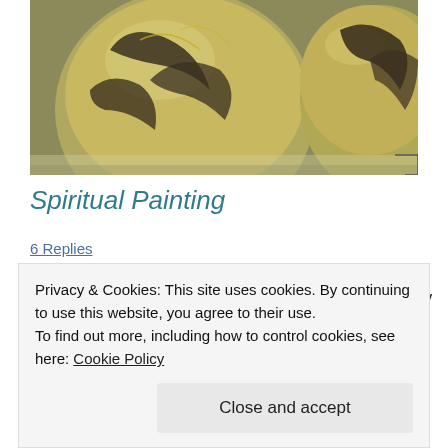[Figure (photo): Close-up photograph of decorative pottery or ceramic vessels with a dark olive-green glaze and swirling black and gold painted designs.]
Spiritual Painting
6 Replies
Today, I thought I'd share some thoughts about my personal painting philosophy and how I arrived at it. As I grew as a
Privacy & Cookies: This site uses cookies. By continuing to use this website, you agree to their use.
To find out more, including how to control cookies, see here: Cookie Policy
Close and accept